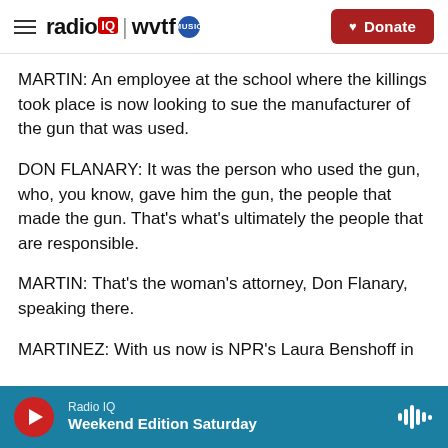radio IQ | wvtf MUSIC — Donate
MARTIN: An employee at the school where the killings took place is now looking to sue the manufacturer of the gun that was used.
DON FLANARY: It was the person who used the gun, who, you know, gave him the gun, the people that made the gun. That's what's ultimately the people that are responsible.
MARTIN: That's the woman's attorney, Don Flanary, speaking there.
MARTINEZ: With us now is NPR's Laura Benshoff in
Radio IQ — Weekend Edition Saturday